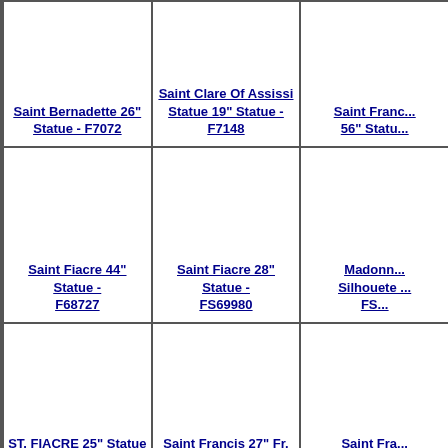| Saint Bernadette 26" Statue - F7072 | Saint Clare Of Assissi Statue 19" Statue - F7148 | Saint Franc... 56" Statu... |
| Saint Fiacre 44" Statue - F68727 | Saint Fiacre 28" Statue - FS69980 | Madonn... Silhouete ... FS... |
| ST. FIACRE 25" Statue - F9098 | Saint Francis 27" Fr. Brankin Statue - F9314 | Saint Fra... Sta... FS... |